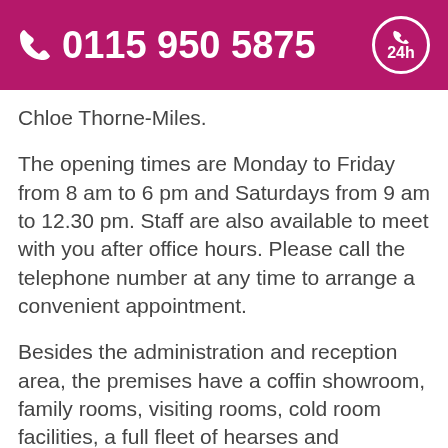☎ 0115 950 5875  [24h badge]
Chloe Thorne-Miles.
The opening times are Monday to Friday from 8 am to 6 pm and Saturdays from 9 am to 12.30 pm. Staff are also available to meet with you after office hours. Please call the telephone number at any time to arrange a convenient appointment.
Besides the administration and reception area, the premises have a coffin showroom, family rooms, visiting rooms, cold room facilities, a full fleet of hearses and limousines, a vintage fleet, stone masonry services and a florist.
A.W. Lymn's head office serves all of Nottingham city centre and its surrounding areas including